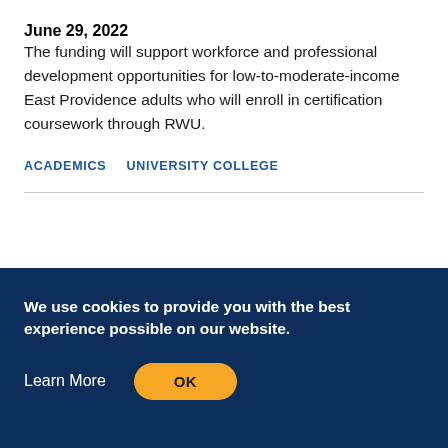June 29, 2022
The funding will support workforce and professional development opportunities for low-to-moderate-income East Providence adults who will enroll in certification coursework through RWU.
ACADEMICS
UNIVERSITY COLLEGE
We use cookies to provide you with the best experience possible on our website.
Learn More
OK